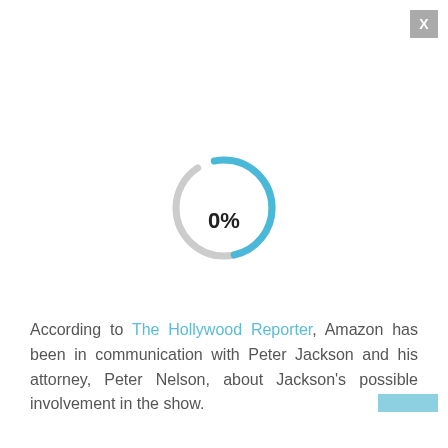[Figure (other): Circular loading spinner with blue and gray arc segments, showing a loading/progress indicator at 0%]
0%
According to The Hollywood Reporter, Amazon has been in communication with Peter Jackson and his attorney, Peter Nelson, about Jackson's possible involvement in the show.